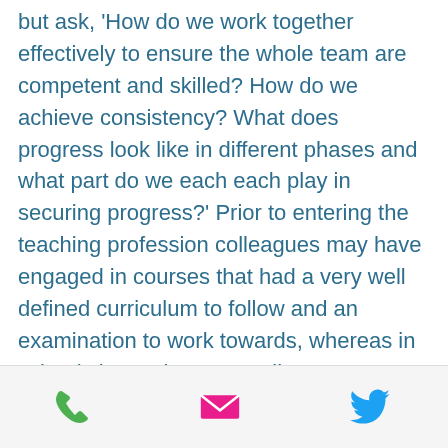but ask, 'How do we work together effectively to ensure the whole team are competent and skilled?  How do we achieve consistency?  What does progress look like in different phases and what part do we each each play in securing progress?'  Prior to entering the teaching profession colleagues may have engaged in courses that had a very well defined curriculum to follow and an examination to work towards, whereas in schools it may be up to colleagues to set out the content to be covered and the skills to be learned, and consider how performance will be measured!  This
[Figure (other): Footer bar with three icons: a green phone icon, a pink/magenta email envelope icon, and a blue Twitter bird icon]